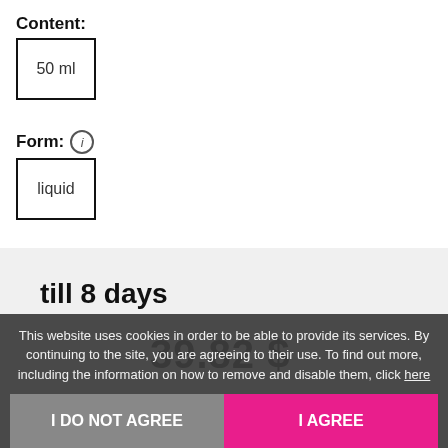Content:
50 ml
Form: (i)
liquid
till 8 days
39.82 $
This website uses cookies in order to be able to provide its services. By continuing to the site, you are agreeing to their use. To find out more, including the information on how to remove and disable them, click here
I DO NOT AGREE
I AGREE